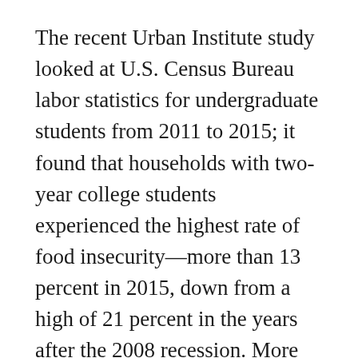The recent Urban Institute study looked at U.S. Census Bureau labor statistics for undergraduate students from 2011 to 2015; it found that households with two-year college students experienced the highest rate of food insecurity—more than 13 percent in 2015, down from a high of 21 percent in the years after the 2008 recession. More than 11 percent of households with four-year college students experienced food insecurity in 2015.
Aside from being more vulnerable to illness, food insecure students often have lower grades, increased stress, depression, and reduced focus. The authors of the Urban Institute study conclude that...